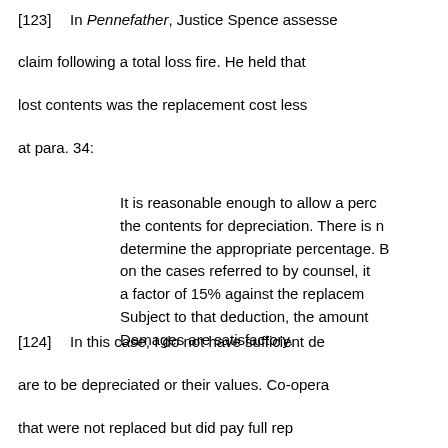[123]  In Pennefather, Justice Spence assessed claim following a total loss fire. He held that lost contents was the replacement cost less at para. 34:
It is reasonable enough to allow a percentage deduction from the contents for depreciation. There is no accurate way to determine the appropriate percentage. Based on the cases referred to by counsel, it seems to me that a factor of 15% against the replacement value is fair. Subject to that deduction, the amounts claimed for Damages are satisfactory.
[124]  In this case, I do not have sufficient detail about what are to be depreciated or their values. Co-operators paid for that were not replaced but did pay full rep